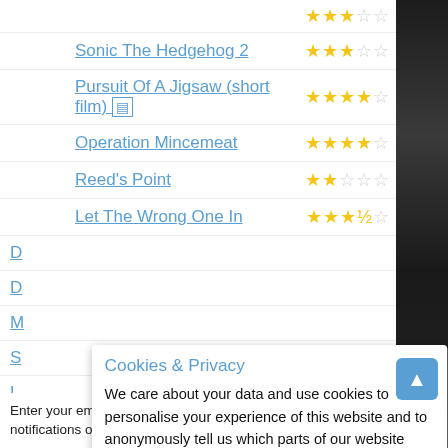Sonic The Hedgehog 2 ★★★☆☆
Pursuit Of A Jigsaw (short film) ★★★★☆
Operation Mincemeat ★★★★☆
Reed's Point ★★☆☆☆
Let The Wrong One In ★★★½☆
Cookies & Privacy
We care about your data and use cookies to personalise your experience of this website and to anonymously tell us which parts of our website people have visited. More information
Accept Cookies   Customise Cookies
Enter your email address to subscribe to and receive notifications of new reviews by email.